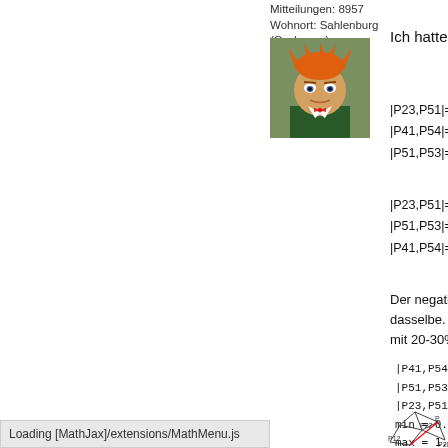Mitteilungen: 8957
Wohnort: Sahlenburg (Cuxhaven)
[Figure (illustration): Cartoon avatar of Fry from Futurama with orange hair]
Ich hatte alle Mö
|P23,P51|=1.000
|P41,P54|=0.999
|P51,P53|=1.018
|P23,P51|=1.000
|P51,P53|=1.000
|P41,P54|=0.984
Der negative Wi... dasselbe. Aber S... mit 20-30% ein.
|P41,P54|: A0 = 1
|P51,P53|: A1 = 1
|P23,P51|: A2 = 1.0...
min = 0.9999999999...
max = 1.0039492470...
[Figure (engineering-diagram): 3D geometric mesh diagram with points labeled P21, P22, P12, P20 connected by lines, with a red line]
Loading [MathJax]/extensions/MathMenu.js